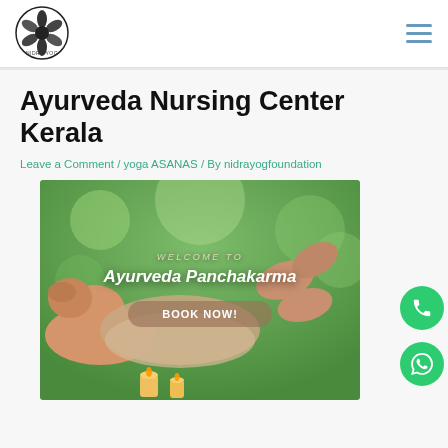[Figure (logo): Nidra Yog circular logo with flower/leaf design and text NIDRA YOG]
Ayurveda Nursing Center Kerala
Leave a Comment / yoga ASANAS / By nidrayogfoundation
[Figure (photo): Ayurveda Panchakarma massage image with woman lying down receiving massage, green bokeh background, candles, text overlay: WELCOME TO / Ayurveda Panchakarma / BOOK NOW! button]